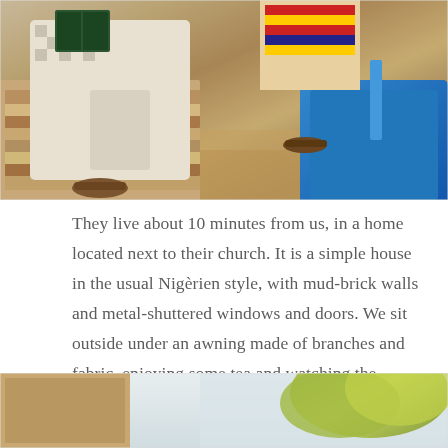[Figure (photo): A person sitting outdoors in checkered clothing, reading a book or document, with sandals on their feet. A blue plastic chair/container is visible to the right, and the ground is sandy/earthen. Another person with striped clothing is partially visible in the background.]
They live about 10 minutes from us, in a home located next to their church. It is a simple house in the usual Nigèrien style, with mud-brick walls and metal-shuttered windows and doors. We sit outside under an awning made of branches and fabric, enjoying some tea and watching the chickens come and go nonsensically.
[Figure (photo): Partial view of an outdoor scene, possibly showing foliage or trees against a light background. Only the top portion of the image is visible at the bottom of the page.]